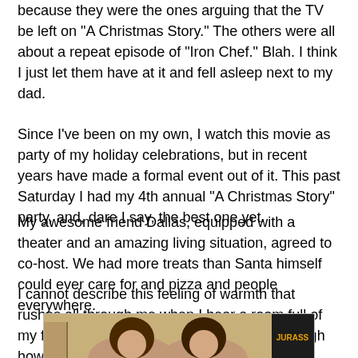because they were the ones arguing that the TV be left on "A Christmas Story."  The others were all about a repeat episode of "Iron Chef."  Blah.  I think I just let them have at it and fell asleep next to my dad.
Since I've been on my own, I watch this movie as party of my holiday celebrations, but in recent years have made a formal event out of it. This past Saturday I had my 4th annual "A Christmas Story" party, and, dare I say, the best one yet.
My awesome friend Dallas, equipped with a theater and an amazing living situation, agreed to co-host.  We had more treats than Santa himself could ever care for and pizza and people everywhere.
I cannot describe this feeling of warmth that rushes all through me when I hear a room full of my friends or family laughing.  I can't say enough how blessed I am!
[Figure (photo): A photo of two women posing together indoors. A Jurassic Park sign is visible in the background on the right side. The background wall is a warm tan/yellow color.]